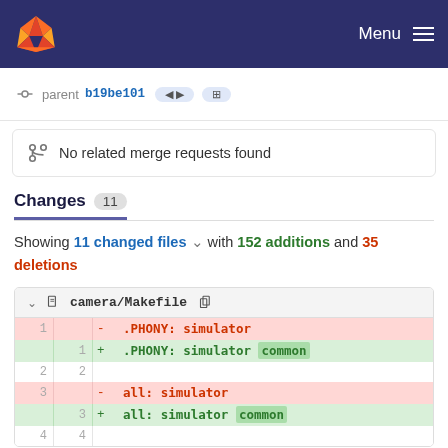GitLab — Menu
parent b19be101
No related merge requests found
Changes 11
Showing 11 changed files with 152 additions and 35 deletions
camera/Makefile
| old | new | op | code |
| --- | --- | --- | --- |
| 1 |  | - | .PHONY: simulator |
|  | 1 | + | .PHONY: simulator common |
| 2 | 2 |  |  |
| 3 |  | - | all: simulator |
|  | 3 | + | all: simulator common |
| 4 | 4 |  |  |